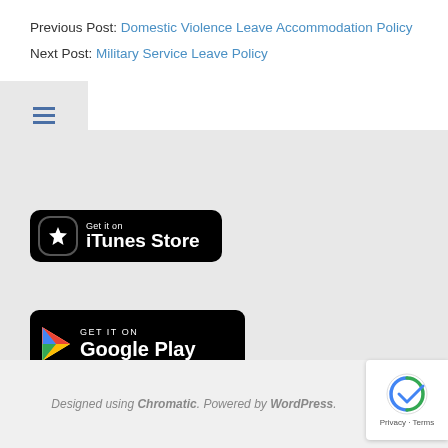Previous Post: Domestic Violence Leave Accommodation Policy
Next Post: Military Service Leave Policy
[Figure (other): Hamburger menu icon with three horizontal lines]
[Figure (logo): Get it on iTunes Store badge - black rounded rectangle with star icon]
[Figure (logo): GET IT ON Google Play badge - black rounded rectangle with play icon]
Designed using Chromatic. Powered by WordPress.